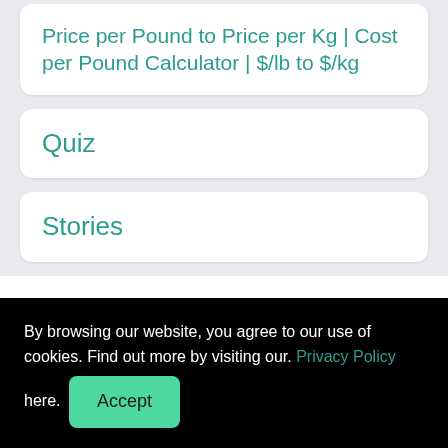Price per Pound to Price per Kg | Cost per Pound Calculator | $/lb to $/kg
Quiz
Stories
By browsing our website, you agree to our use of cookies. Find out more by visiting our. Privacy Policy here. Accept
7.04 kg to lbs = 15.52054